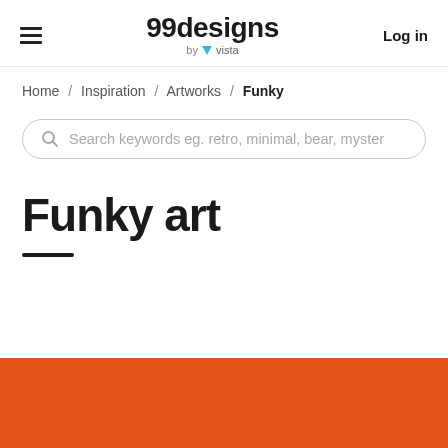99designs by vista  Log in
Home / Inspiration / Artworks / Funky
Search keywords eg. retro, minimal, bear, myster
Funky art
[Figure (photo): Orange textured background image partially visible at bottom of page]